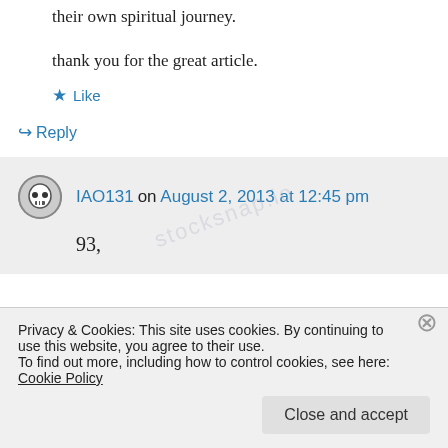their own spiritual journey.
thank you for the great article.
★ Like
↪ Reply
IAO131 on August 2, 2013 at 12:45 pm
93,
Privacy & Cookies: This site uses cookies. By continuing to use this website, you agree to their use.
To find out more, including how to control cookies, see here: Cookie Policy
Close and accept